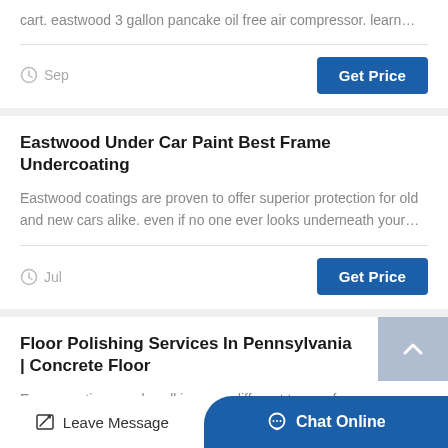cart. eastwood 3 gallon pancake oil free air compressor. learn…
Sep
Get Price
Eastwood Under Car Paint Best Frame Undercoating
Eastwood coatings are proven to offer superior protection for old and new cars alike. even if no one ever looks underneath your…
Jul
Get Price
Floor Polishing Services In Pennsylvania | Concrete Floor
Epoxy coatings work well in many different types of
Leave Message
Chat Online